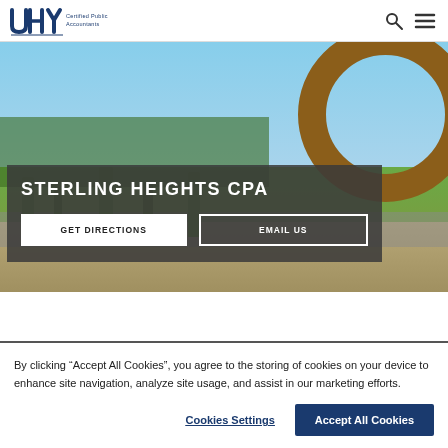UHY Certified Public Accountants
[Figure (photo): Outdoor street scene with blue sky, trees, road, and a large brown metal circular sculpture on the right side. Dark semi-transparent overlay box with text and buttons.]
STERLING HEIGHTS CPA
GET DIRECTIONS | EMAIL US
By clicking “Accept All Cookies”, you agree to the storing of cookies on your device to enhance site navigation, analyze site usage, and assist in our marketing efforts.
Cookies Settings | Accept All Cookies